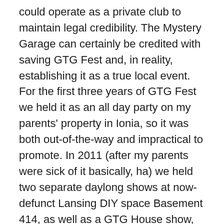could operate as a private club to maintain legal credibility. The Mystery Garage can certainly be credited with saving GTG Fest and, in reality, establishing it as a true local event. For the first three years of GTG Fest we held it as an all day party on my parents' property in Ionia, so it was both out-of-the-way and impractical to promote. In 2011 (after my parents were sick of it basically, ha) we held two separate daylong shows at now-defunct Lansing DIY space Basement 414, as well as a GTG House show, and used “GTG Fest” and “GTG Festivus” as a banner to connect all of them. In 2012 we really had no idea when, how, or where we would do GTG Fest and the Mystery Garage popping up made it possible. Finally holding it as a proper event in Lansing and seeing how well it went as a one day thing at the Mystery Garage prompted us to experiment with the multi-day and multi-venue format that